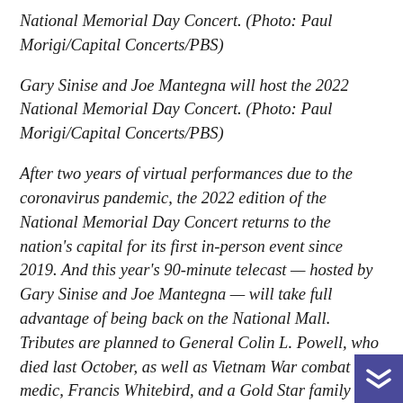National Memorial Day Concert. (Photo: Paul Morigi/Capital Concerts/PBS)
Gary Sinise and Joe Mantegna will host the 2022 National Memorial Day Concert. (Photo: Paul Morigi/Capital Concerts/PBS)
After two years of virtual performances due to the coronavirus pandemic, the 2022 edition of the National Memorial Day Concert returns to the nation's capital for its first in-person event since 2019. And this year's 90-minute telecast — hosted by Gary Sinise and Joe Mantegna — will take full advantage of being back on the National Mall. Tributes are planned to General Colin L. Powell, who died last October, as well as Vietnam War combat medic, Francis Whitebird, and a Gold Star family grieving the loss of their two sons. Abraham